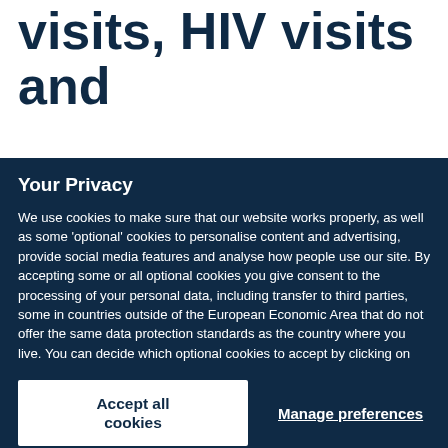visits, HIV visits and
Your Privacy
We use cookies to make sure that our website works properly, as well as some 'optional' cookies to personalise content and advertising, provide social media features and analyse how people use our site. By accepting some or all optional cookies you give consent to the processing of your personal data, including transfer to third parties, some in countries outside of the European Economic Area that do not offer the same data protection standards as the country where you live. You can decide which optional cookies to accept by clicking on 'Manage Settings', where you can also find more information about how your personal data is processed. Further information can be found in our privacy policy.
Accept all cookies
Manage preferences